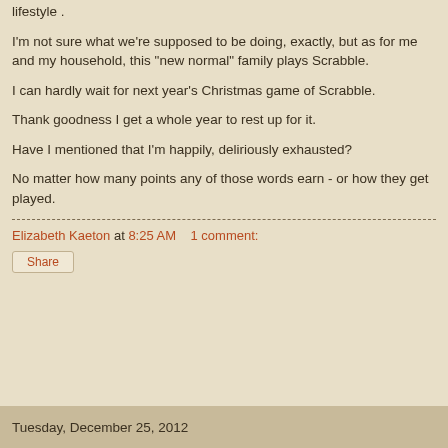lifestyle .
I'm not sure what we're supposed to be doing, exactly, but as for me and my household, this "new normal" family plays Scrabble.
I can hardly wait for next year's Christmas game of Scrabble.
Thank goodness I get a whole year to rest up for it.
Have I mentioned that I'm happily, deliriously exhausted?
No matter how many points any of those words earn - or how they get played.
Elizabeth Kaeton at 8:25 AM    1 comment:
Share
Tuesday, December 25, 2012